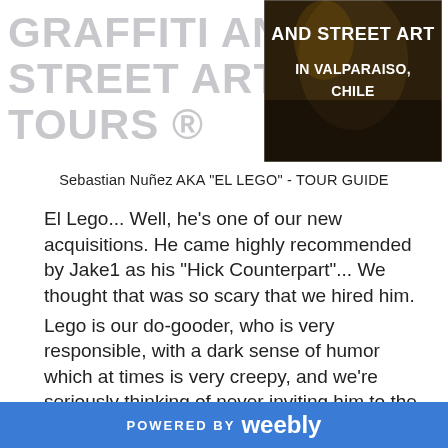GRAFFITI AND STREET ART TOURS IN VALPARAISO, CHILE
[Figure (photo): A photo of a person with graffiti/street art, overlaid with the text 'AND STREET ART IN VALPARAISO, CHILE' in bold white letters on a dark background]
Sebastian Nuñez AKA "EL LEGO" - TOUR GUIDE
El Lego... Well, he's one of our new acquisitions. He came highly recommended by Jake1 as his "Hick Counterpart"... We thought that was so scary that we hired him.
Lego is our do-gooder, who is very responsible, with a dark sense of humor which at times is very creepy, and we're seriously thinking of never inviting him to the anual VSA pajama party.
Lego is an avid player of "Call of Duty", or whatever games those are, where you sit behind a computer,
POWERED BY weebly